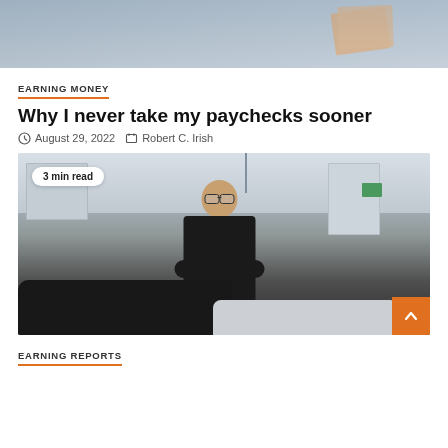[Figure (photo): Top portion of a photo showing a person holding documents/papers, partial view]
EARNING MONEY
Why I never take my paychecks sooner
August 29, 2022  Robert C. Irish
[Figure (photo): A middle-aged man with glasses and gray hair, arms crossed, smiling, standing in what appears to be a car garage/dealership. Badge says '3 min read' in top left corner.]
EARNING REPORTS